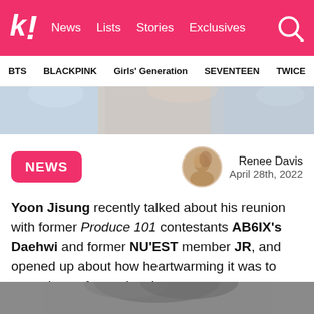k! News Lists Stories Exclusives
BTS BLACKPINK Girls' Generation SEVENTEEN TWICE
[Figure (photo): Photo strip of K-pop idols at the top of the article]
NEWS
Renee Davis
April 28th, 2022
Yoon Jisung recently talked about his reunion with former Produce 101 contestants AB6IX's Daehwi and former NU'EST member JR, and opened up about how heartwarming it was to meet them after so long!
[Figure (photo): Photo of Yoon Jisung with dark hair against a grey background]